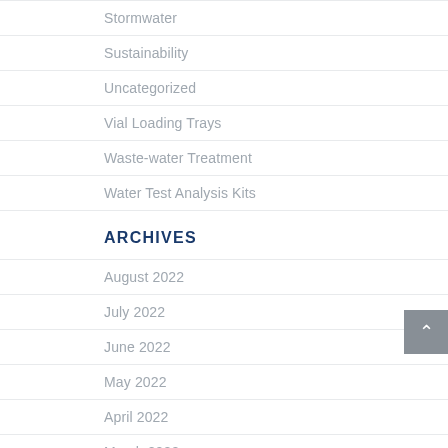Stormwater
Sustainability
Uncategorized
Vial Loading Trays
Waste-water Treatment
Water Test Analysis Kits
ARCHIVES
August 2022
July 2022
June 2022
May 2022
April 2022
March 2022
February 2022
January 2022
December 2021
November 2021
October 2021
September 2021